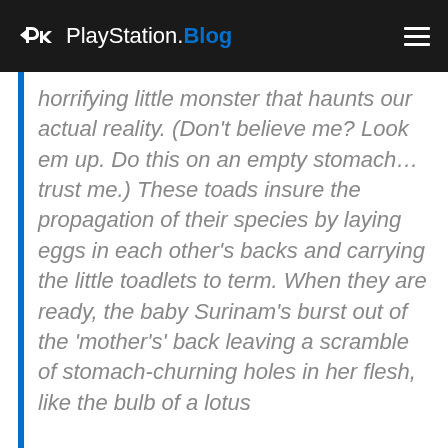PlayStation.Blog
horrifying little monster that haunts our actual reality. (Don't believe me? Look em up. Do this on an empty stomach… trust me.) These toads insure the propagation of their species by laying eggs in each other's backs and carrying the little toadlets to term. When they are ready, the baby Surinam's burst out of the 'mother's' back leaving a scramble of stomach-churning holes in her flesh, like the bulb of a lotus